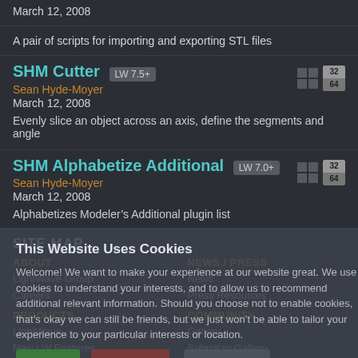March 12, 2008
A pair of scripts for importing and exporting STL files
SHM Cutter  LW 7.5+
Sean Hyde-Moyer
March 12, 2008
Evenly slice an object across an axis, define the segments and angle
SHM Alphabetize Additional  LW 7.0+
Sean Hyde-Moyer
March 12, 2008
Alphabetizes Modeler’s Additional plugin list
SITE MAP
ABOUT
LightWave Group
Careers
NEWS / PRESS
News
Press Resources
PRODUCTS
LightWave
New LW Features
COMMUNITY
Gallery
Submit to Gallery
This Website Uses Cookies
Welcome! We want to make your experience at our website great. We use cookies to understand your interests, and to allow us to recommend additional relevant information. Should you choose not to enable cookies, that’s okay we can still be friends, but we just won’t be able to tailor your experience to your particular interests or location.